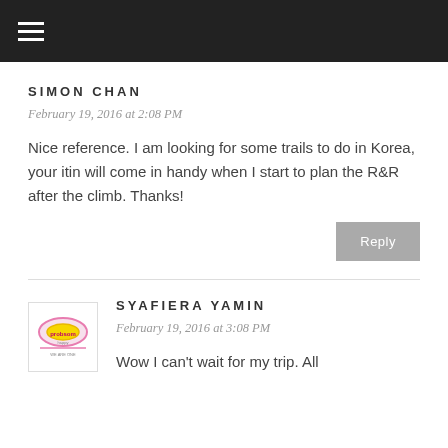≡ (navigation menu)
SIMON CHAN
February 19, 2016 at 2:08 PM
Nice reference. I am looking for some trails to do in Korea, your itin will come in handy when I start to plan the R&R after the climb. Thanks!
Reply
SYAFIERA YAMIN
February 19, 2016 at 3:08 PM
Wow I can't wait for my trip. All